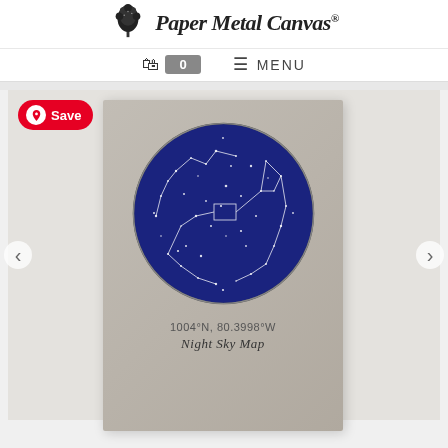[Figure (logo): Paper Metal Canvas logo with decorative tree icon and script brand name]
🛒 0   ≡ MENU
[Figure (photo): Product photo of a star map print on kraft/tan paper showing a deep blue circular night sky with white constellation lines and stars, with coordinates 1004°N, 80.3998°W and a script title below. Pinterest Save button overlay visible. Navigation arrows on sides.]